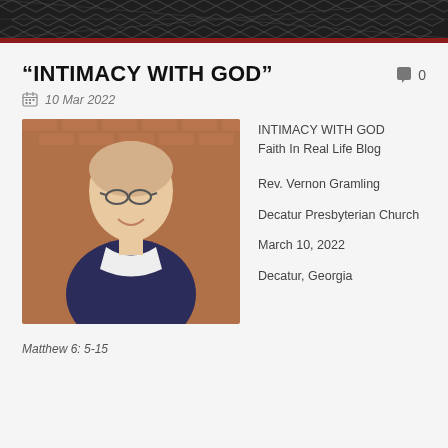[Figure (photo): Header decorative architectural pattern in dark tones with geometric lattice design]
“INTIMACY WITH GOD”
0
10 Mar 2022
[Figure (photo): Portrait photo of Rev. Vernon Gramling, an older man with glasses and gray hair, smiling, wearing a dark navy sweater with white collar, standing in front of a brick wall]
INTIMACY WITH GOD
Faith In Real Life Blog

Rev. Vernon Gramling

Decatur Presbyterian Church

March 10, 2022

Decatur, Georgia
Matthew 6: 5-15